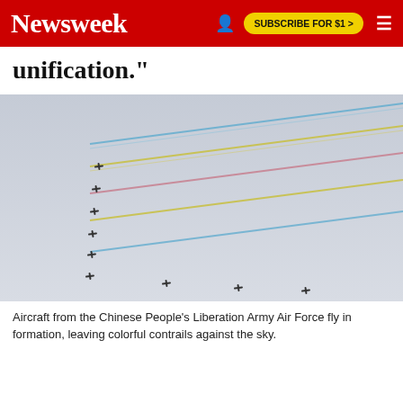Newsweek | SUBSCRIBE FOR $1 >
unification."
[Figure (photo): Aircraft from the Chinese People's Liberation Army Air Force flying in formation, leaving colorful contrails (blue, yellow, pink) against a gray sky.]
Aircraft from the Chinese People's Liberation Army Air Force fly in formation, leaving colorful contrails against the sky.